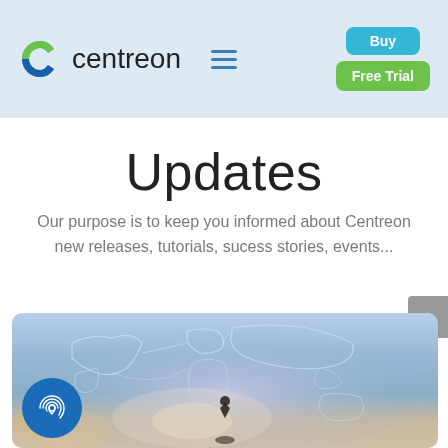centreon — Buy | Free Trial
Updates
Our purpose is to keep you informed about Centreon new releases, tutorials, sucess stories, events...
[Figure (photo): A person sitting before a glowing digital world map with light trails, suggesting global network monitoring. A circular fingerprint/biometric icon badge overlays the bottom-left corner.]